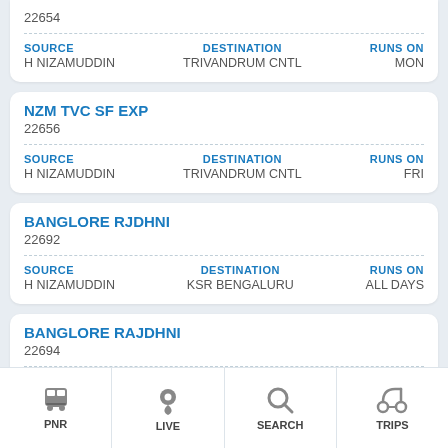22654 | SOURCE: H NIZAMUDDIN | DESTINATION: TRIVANDRUM CNTL | RUNS ON: MON
NZM TVC SF EXP | 22656 | SOURCE: H NIZAMUDDIN | DESTINATION: TRIVANDRUM CNTL | RUNS ON: FRI
BANGLORE RJDHNI | 22692 | SOURCE: H NIZAMUDDIN | DESTINATION: KSR BENGALURU | RUNS ON: ALL DAYS
BANGLORE RAJDHNI | 22694 | SOURCE: H NIZAMUDDIN | DESTINATION: KSR BENGALURU | RUNS ON: WED, THU, ...
PNR | LIVE | SEARCH | TRIPS